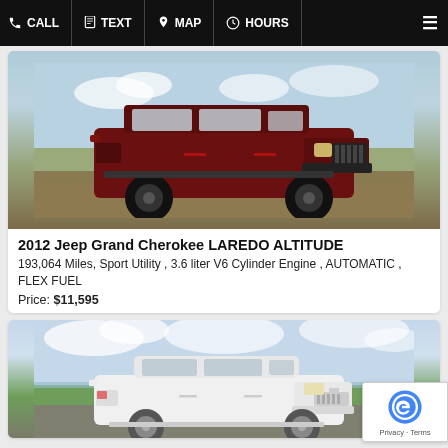CALL | TEXT | MAP | HOURS
[Figure (photo): Photo of a dark red/maroon 2012 Jeep Grand Cherokee Laredo Altitude with black wheels, parked outdoors on dirt/gravel with dry grass and hills in background]
2012 Jeep Grand Cherokee LAREDO ALTITUDE
193,064 Miles, Sport Utility , 3.6 liter V6 Cylinder Engine , AUTOMATIC , FLEX FUEL
Price: $11,595
[Figure (photo): Photo of a white Chevrolet Equinox SUV parked outdoors near a lake or river with trees and cloudy sky in background]
[Figure (other): reCAPTCHA badge with Privacy and Terms links]